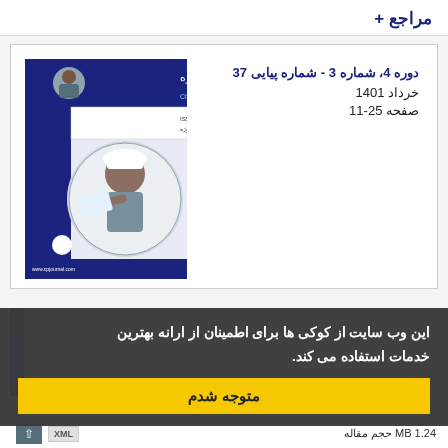مراجع +
دوره 4، شماره 3 - شماره پیایی 37
خرداد 1401
صفحه 25-11
[Figure (photo): Cover image of Civil & Project Journal showing a construction engineer with a hard hat holding blueprints, with blue and white journal branding.]
این وب سایت از کوکی ها برای اطمینان از ارانه بهترین خدمات استفاده می کند.
متوجه شدم
MB 1.24 حجم مقاله